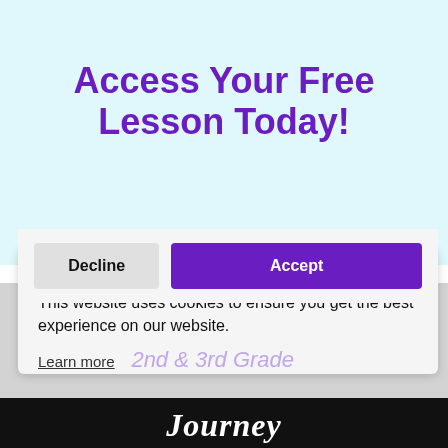Access Your Free Lesson Today!
Choose Your Grade!
This website uses cookies to ensure you get the best experience on our website.
Learn more
2nd & 3rd Grade
Decline
Accept
[Figure (screenshot): Core Reading Journey text on dark gray and black background at bottom of page]